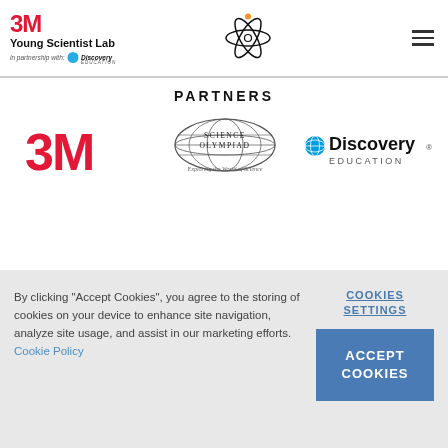3M Young Scientist Lab in partnership with Discovery Education
PARTNERS
[Figure (logo): 3M logo in red]
[Figure (logo): Science Olympiad logo with globe - Exploring the World of Science]
[Figure (logo): Discovery Education logo]
By clicking "Accept Cookies", you agree to the storing of cookies on your device to enhance site navigation, analyze site usage, and assist in our marketing efforts. Cookie Policy
COOKIES SETTINGS
ACCEPT COOKIES